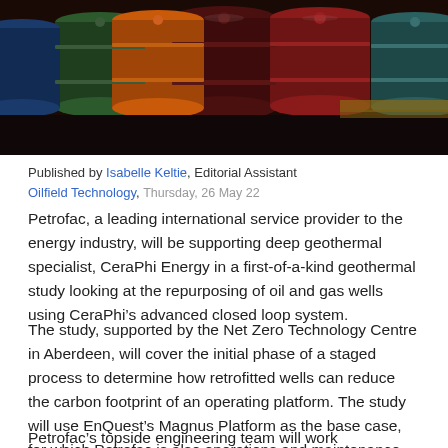[Figure (photo): Rows of colorful industrial oil and gas drums/barrels stacked together, in various colors including red, green, blue, orange, and dark maroon.]
Published by Isabelle Keltie, Editorial Assistant
Oilfield Technology, Thursday, 26 May 22
Petrofac, a leading international service provider to the energy industry, will be supporting deep geothermal specialist, CeraPhi Energy in a first-of-a-kind geothermal study looking at the repurposing of oil and gas wells using CeraPhi’s advanced closed loop system.
The study, supported by the Net Zero Technology Centre in Aberdeen, will cover the initial phase of a staged process to determine how retrofitted wells can reduce the carbon footprint of an operating platform. The study will use EnQuest’s Magnus Platform as the base case, for which Petrofac is also operations and maintenance contractor.
Petrofac’s topside engineering team will work collaboratively with